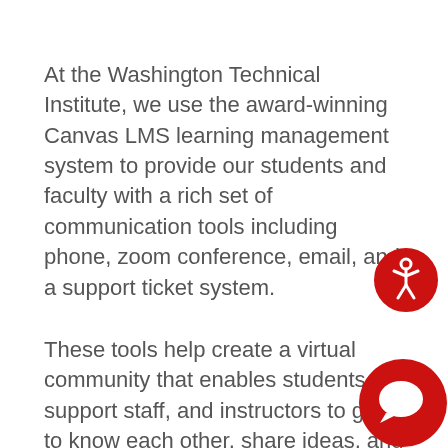At the Washington Technical Institute, we use the award-winning Canvas LMS learning management system to provide our students and faculty with a rich set of communication tools including phone, zoom conference, email, and a support ticket system.
[Figure (illustration): Red circle with white accessibility person icon (wheelchair accessible symbol)]
These tools help create a virtual community that enables students, support staff, and instructors to get to know each other, share ideas, and learn from each other.
Canvas LMS is a proven system that is used by thousands of schools. It will make your online learning experience convenient and enjoyable.
[Figure (illustration): Red circle with white chat bubble icon (live chat button)]